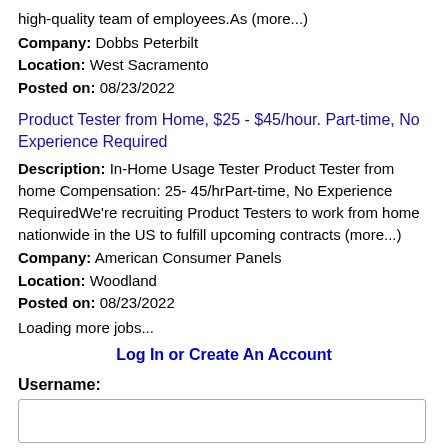high-quality team of employees.As (more...)
Company: Dobbs Peterbilt
Location: West Sacramento
Posted on: 08/23/2022
Product Tester from Home, $25 - $45/hour. Part-time, No Experience Required
Description: In-Home Usage Tester Product Tester from home Compensation: 25- 45/hrPart-time, No Experience RequiredWe're recruiting Product Testers to work from home nationwide in the US to fulfill upcoming contracts (more...)
Company: American Consumer Panels
Location: Woodland
Posted on: 08/23/2022
Loading more jobs...
Log In or Create An Account
Username: